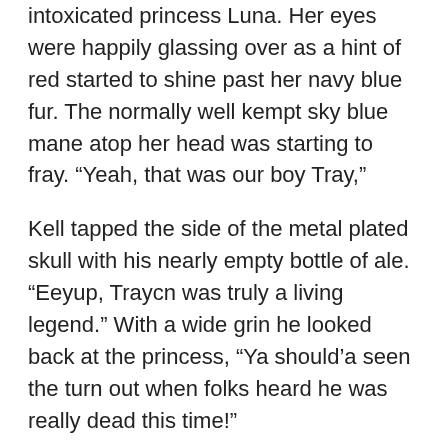intoxicated princess Luna. Her eyes were happily glassing over as a hint of red started to shine past her navy blue fur. The normally well kempt sky blue mane atop her head was starting to fray. “Yeah, that was our boy Tray,”
Kell tapped the side of the metal plated skull with his nearly empty bottle of ale. “Eeyup, Traycn was truly a living legend.” With a wide grin he looked back at the princess, “Ya should’a seen the turn out when folks heard he was really dead this time!”
“I can only imagine,” Luna said with a sullen smile, “but sadly, mine own guilt would not permit me attend out of shame that, had I not rushed off to Tia so recklessly, he would be alive.”